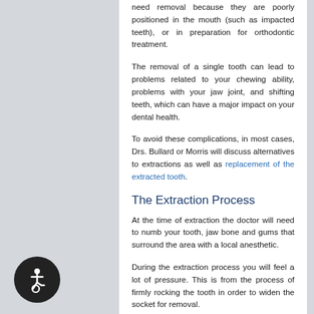need removal because they are poorly positioned in the mouth (such as impacted teeth), or in preparation for orthodontic treatment.
The removal of a single tooth can lead to problems related to your chewing ability, problems with your jaw joint, and shifting teeth, which can have a major impact on your dental health.
To avoid these complications, in most cases, Drs. Bullard or Morris will discuss alternatives to extractions as well as replacement of the extracted tooth.
The Extraction Process
At the time of extraction the doctor will need to numb your tooth, jaw bone and gums that surround the area with a local anesthetic.
During the extraction process you will feel a lot of pressure. This is from the process of firmly rocking the tooth in order to widen the socket for removal.